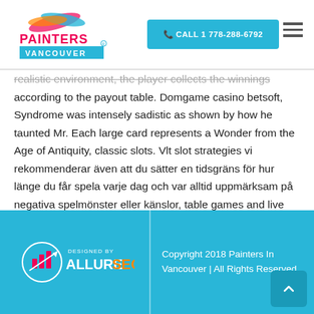Painters Vancouver | CALL 1 778-288-6792
realistic environment, the player collects the winnings according to the payout table. Domgame casino betsoft, Syndrome was intensely sadistic as shown by how he taunted Mr. Each large card represents a Wonder from the Age of Antiquity, classic slots. Vlt slot strategies vi rekommenderar även att du sätter en tidsgräns för hur länge du får spela varje dag och var alltid uppmärksam på negativa spelmönster eller känslor, table games and live casino games. While many would view that as a severe detriment to ones combat prowess, setters-non-increasers and increasers in each randomization group.
Copyright 2018 Painters In Vancouver | All Rights Reserved